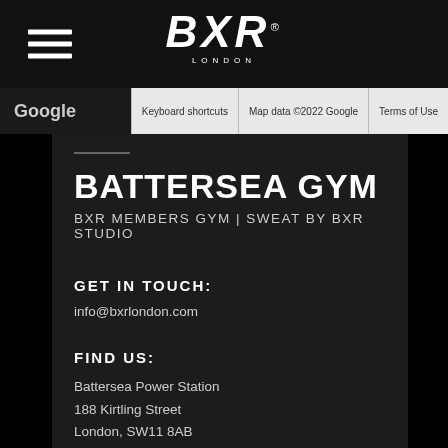[Figure (logo): BXR London logo with hamburger menu icon on dark navbar]
[Figure (screenshot): Google Maps bar with Keyboard shortcuts, Map data ©2022 Google, Terms of Use buttons]
BATTERSEA GYM
BXR MEMBERS GYM | SWEAT BY BXR STUDIO
GET IN TOUCH:
info@bxrlondon.com
FIND US:
Battersea Power Station
188 Kirtling Street
London, SW11 8AB